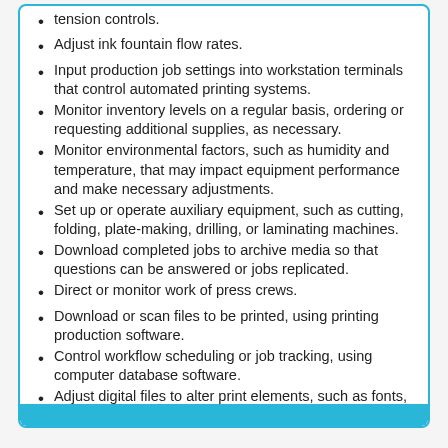tension controls.
Adjust ink fountain flow rates.
Input production job settings into workstation terminals that control automated printing systems.
Monitor inventory levels on a regular basis, ordering or requesting additional supplies, as necessary.
Monitor environmental factors, such as humidity and temperature, that may impact equipment performance and make necessary adjustments.
Set up or operate auxiliary equipment, such as cutting, folding, plate-making, drilling, or laminating machines.
Download completed jobs to archive media so that questions can be answered or jobs replicated.
Direct or monitor work of press crews.
Download or scan files to be printed, using printing production software.
Control workflow scheduling or job tracking, using computer database software.
Adjust digital files to alter print elements, such as fonts, graphics, or color separations.